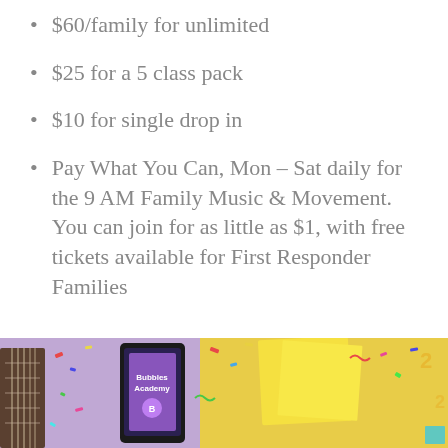$60/family for unlimited
$25 for a 5 class pack
$10 for single drop in
Pay What You Can, Mon – Sat daily for the 9 AM Family Music & Movement. You can join for as little as $1, with free tickets available for First Responder Families
[Figure (photo): Photo of a tablet showing 'Bubbles Academy' app/logo, a guitar neck, yellow sticky notes, colorful confetti, and other musical/activity items on a purple background]